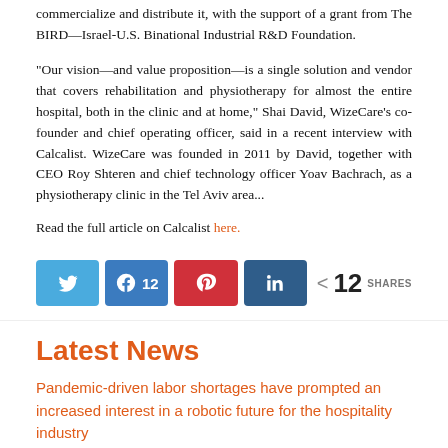commercialize and distribute it, with the support of a grant from The BIRD—Israel-U.S. Binational Industrial R&D Foundation.
“Our vision—and value proposition—is a single solution and vendor that covers rehabilitation and physiotherapy for almost the entire hospital, both in the clinic and at home,” Shai David, WizeCare’s co-founder and chief operating officer, said in a recent interview with Calcalist. WizeCare was founded in 2011 by David, together with CEO Roy Shteren and chief technology officer Yoav Bachrach, as a physiotherapy clinic in the Tel Aviv area...
Read the full article on Calcalist here.
[Figure (infographic): Social share buttons: Twitter, Facebook (12 shares), Pinterest, LinkedIn, and a share count showing 12 SHARES]
Latest News
Pandemic-driven labor shortages have prompted an increased interest in a robotic future for the hospitality industry